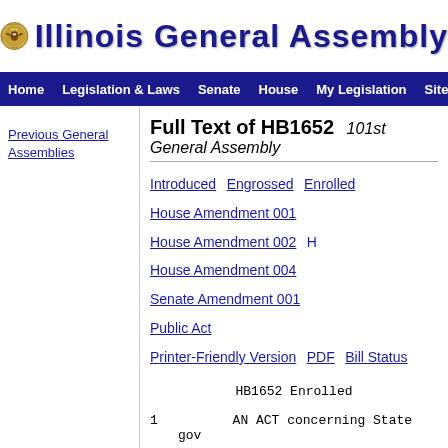Illinois General Assembly
Home | Legislation & Laws | Senate | House | My Legislation | Site Map
Previous General Assemblies
Full Text of HB1652   101st General Assembly
Introduced  Engrossed  Enrolled
House Amendment 001   House Amendment 002   H
House Amendment 004   Senate Amendment 001
Public Act
Printer-Friendly Version   PDF   Bill Status
HB1652 Enrolled
1          AN ACT concerning State gov
2          Be it enacted by the People
3     represented in the General Asse